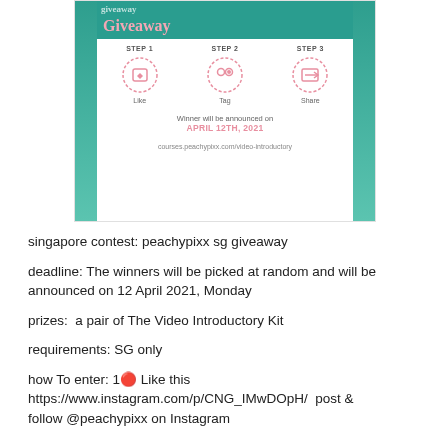[Figure (illustration): A giveaway promotional card with teal side bars. Shows 'Giveaway' title, three steps (Like, Tag, Share) shown as dashed circles with icons, winner announcement date April 12th 2021 in pink, and URL courses.peachypixx.com/video-introductory]
singapore contest: peachypixx sg giveaway
deadline: The winners will be picked at random and will be announced on 12 April 2021, Monday
prizes:  a pair of The Video Introductory Kit
requirements: SG only
how To enter: 1🔴 Like this https://www.instagram.com/p/CNG_IMwDOpH/  post & follow @peachypixx on Instagram